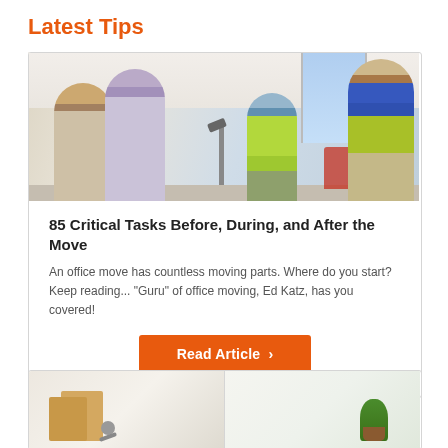Latest Tips
[Figure (photo): Office moving scene: two women talking in the foreground, a worker in a hi-vis vest in the middle, and another worker in hi-vis vest on the right, inside a bright office space]
85 Critical Tasks Before, During, and After the Move
An office move has countless moving parts. Where do you start? Keep reading... "Guru" of office moving, Ed Katz, has you covered!
Read Article ›
[Figure (photo): Two side-by-side photos at the bottom: left shows moving boxes and keys, right shows a bright room with a plant]